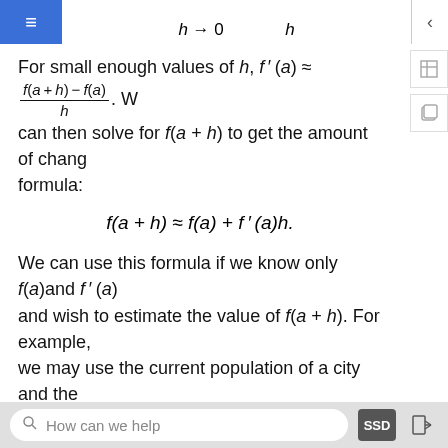For small enough values of h, f'(a) ≈ [f(a+h)−f(a)]/h. We can then solve for f(a + h) to get the amount of change formula:
We can use this formula if we know only f(a) and f'(a) and wish to estimate the value of f(a + h). For example, we may use the current population of a city and the rate at which it is growing to estimate its population in the near future. As we can see in Figure 3.4.1, we are approximating f(a + h) by the y coordinate at a+h on the line tangent to f(x) at x = a. Observe that the accuracy of this estimate depends on the value of h as